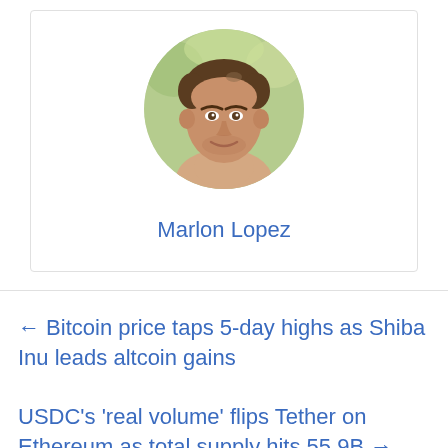[Figure (photo): Circular profile photo of a man (Marlon Lopez) with short brown hair, outdoors with green background]
Marlon Lopez
← Bitcoin price taps 5-day highs as Shiba Inu leads altcoin gains
USDC's 'real volume' flips Tether on Ethereum as total supply hits 55.9B →